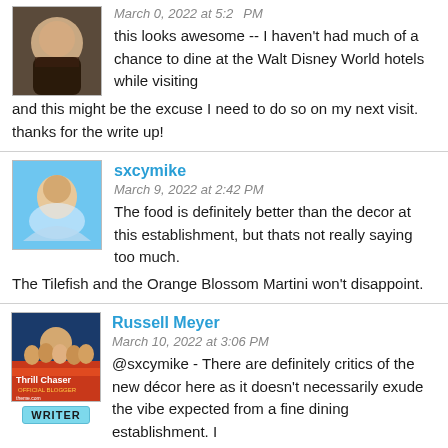this looks awesome -- I haven't had much of a chance to dine at the Walt Disney World hotels while visiting and this might be the excuse I need to do so on my next visit. thanks for the write up!
sxcymike
March 9, 2022 at 2:42 PM
The food is definitely better than the decor at this establishment, but thats not really saying too much. The Tilefish and the Orange Blossom Martini won't disappoint.
Russell Meyer
March 10, 2022 at 3:06 PM
@sxcymike - There are definitely critics of the new décor here as it doesn't necessarily exude the vibe expected from a fine dining establishment. I remember peeking in here a few years ago when we were waiting